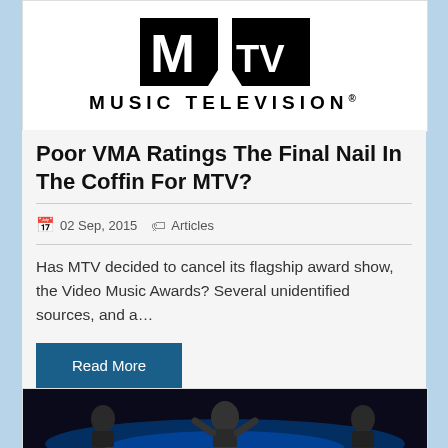[Figure (logo): MTV Music Television logo with two black rectangular blocks and text 'MUSIC TELEVISION®' below]
Poor VMA Ratings The Final Nail In The Coffin For MTV?
02 Sep, 2015   Articles
Has MTV decided to cancel its flagship award show, the Video Music Awards? Several unidentified sources, and a…
Read More
[Figure (photo): Photo of a person on stage at what appears to be an awards show with blue stage lighting]